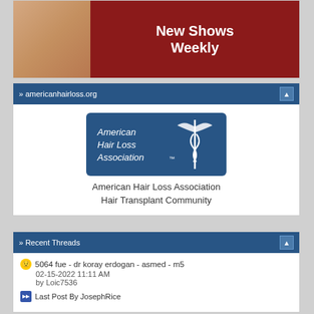[Figure (photo): Advertisement banner with red background showing 'New Shows Weekly' text in white]
» americanhairloss.org
[Figure (logo): American Hair Loss Association logo - blue rectangular badge with caduceus symbol and text 'American Hair Loss Association™']
American Hair Loss Association
Hair Transplant Community
» Recent Threads
5064 fue - dr koray erdogan - asmed - m5
02-15-2022 11:11 AM
by Loic7536
Last Post By JosephRice